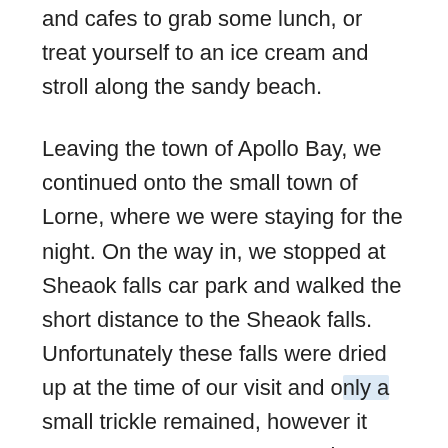and cafes to grab some lunch, or treat yourself to an ice cream and stroll along the sandy beach.
Leaving the town of Apollo Bay, we continued onto the small town of Lorne, where we were staying for the night. On the way in, we stopped at Sheaok falls car park and walked the short distance to the Sheaok falls. Unfortunately these falls were dried up at the time of our visit and only a small trickle remained, however it was a very pretty spot. Lorne is a small fishing town but it does have a couple of restaurants and a shop as